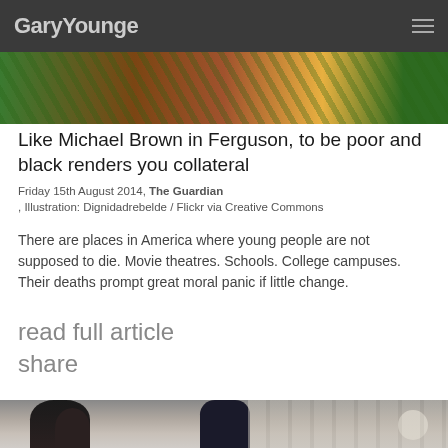GaryYounge
[Figure (photo): Partial view of a colorful image with green, brown and orange tones, partially cropped at the top of the page]
Like Michael Brown in Ferguson, to be poor and black renders you collateral
Friday 15th August 2014, The Guardian , Illustration: Dignidadrebelde / Flickr via Creative Commons
There are places in America where young people are not supposed to die. Movie theatres. Schools. College campuses. Their deaths prompt great moral panic if little change.
read full article
share
[Figure (photo): Photograph of people outside a building, including a woman in a black hat and a man in a suit waving, with white neoclassical architecture in the background]